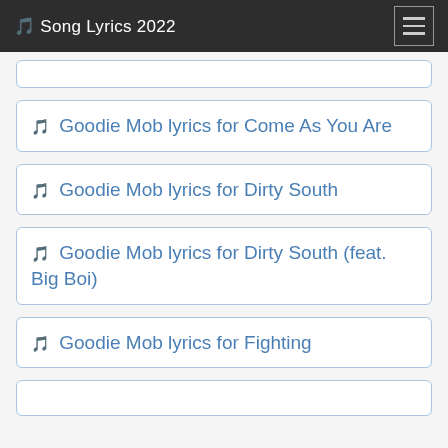🎵 Song Lyrics 2022
🎵 Goodie Mob lyrics for Come As You Are
🎵 Goodie Mob lyrics for Dirty South
🎵 Goodie Mob lyrics for Dirty South (feat. Big Boi)
🎵 Goodie Mob lyrics for Fighting